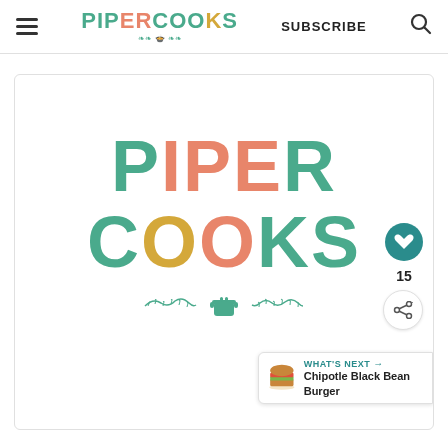PIPERCOOKS — SUBSCRIBE
[Figure (logo): PiperCooks logo displayed large in the center of a card, with PIPER in teal/salmon colors and COOKS in teal/gold/salmon, with decorative leaf branches and a cooking pot icon below]
15
WHAT'S NEXT → Chipotle Black Bean Burger